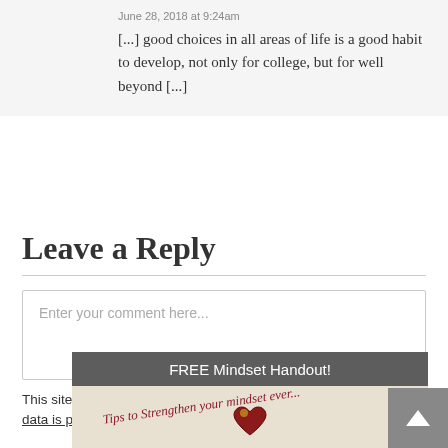June 28, 2018 at 9:24am
[...] good choices in all areas of life is a good habit to develop, not only for college, but for well beyond [...]
Leave a Reply
Enter your comment here...
This site uses Akismet to reduce spam. Learn how your comment data is processed.
[Figure (infographic): FREE Mindset Handout popup banner with cursive text 'Tips to Strengthen your mindset ever...' and a heart graphic on a light tan background. A gray scroll-to-top arrow button is on the right.]